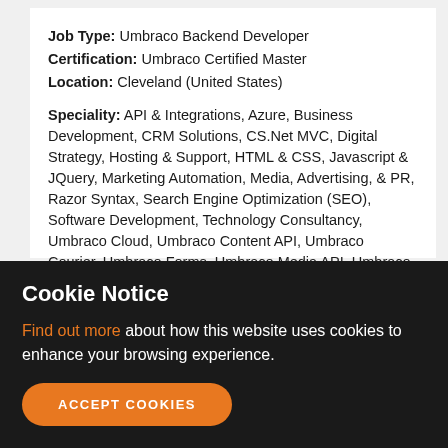Job Type: Umbraco Backend Developer
Certification: Umbraco Certified Master
Location: Cleveland (United States)
Speciality: API & Integrations, Azure, Business Development, CRM Solutions, CS.Net MVC, Digital Strategy, Hosting & Support, HTML & CSS, Javascript & JQuery, Marketing Automation, Media, Advertising, & PR, Razor Syntax, Search Engine Optimization (SEO), Software Development, Technology Consultancy, Umbraco Cloud, Umbraco Content API, Umbraco Courier, Umbraco Forms, Umbraco Media API, Umbraco Member API, Umbraco Models Builder, Web Development
I am a Certified Umbraco master and have been working with Umbraco and other related content management systems for over 15 years. I have a deep understanding of
Cookie Notice
Find out more about how this website uses cookies to enhance your browsing experience.